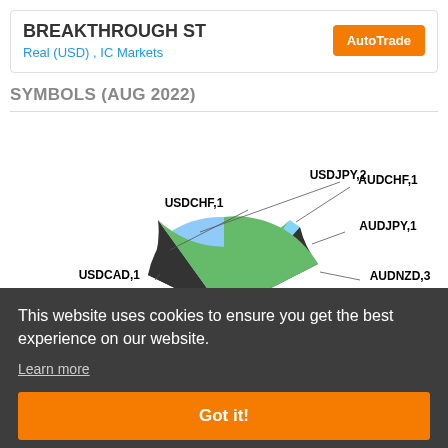BREAKTHROUGH ST
Real (USD) , IC Markets
AutoTrade
SYMBOLS (AUG 2022)
[Figure (pie-chart): Pie chart showing currency symbol distribution for Aug 2022. Visible labels: USDJPY,2; USDCHF,1; USDCAD,1; AUDCHF,1; AUDJPY,1; AUDNZD,3. Chart partially obscured by cookie overlay.]
This website uses cookies to ensure you get the best experience on our website.
Learn more
Got it!